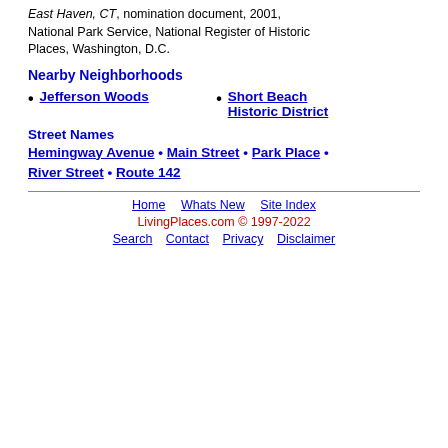East Haven, CT, nomination document, 2001, National Park Service, National Register of Historic Places, Washington, D.C.
Nearby Neighborhoods
Jefferson Woods
Short Beach Historic District
Street Names
Hemingway Avenue • Main Street • Park Place • River Street • Route 142
Home  Whats New  Site Index
LivingPlaces.com © 1997-2022
Search  Contact  Privacy  Disclaimer